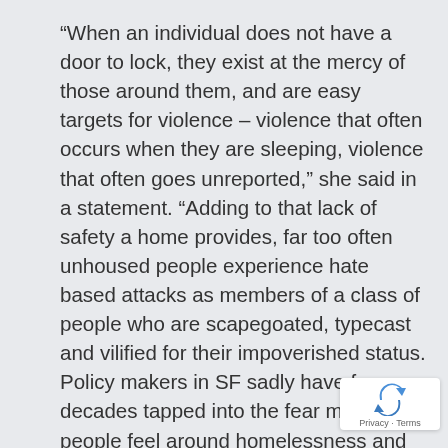“When an individual does not have a door to lock, they exist at the mercy of those around them, and are easy targets for violence – violence that often occurs when they are sleeping, violence that often goes unreported,” she said in a statement. “Adding to that lack of safety a home provides, far too often unhoused people experience hate based attacks as members of a class of people who are scapegoated, typecast and vilified for their impoverished status. Policy makers in SF sadly have for decades tapped into the fear many people feel around homelessness and use homeless people as a political wedge, furthering the dehumanization process and driving up violence against them. ”